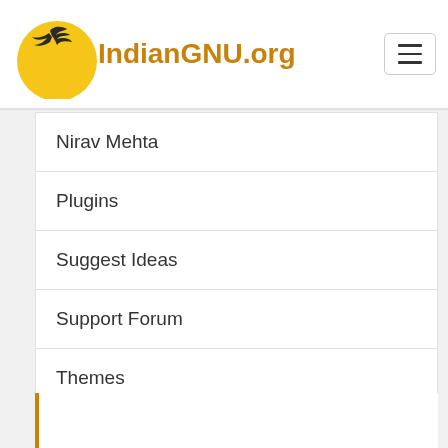IndianGNU.org
Nirav Mehta
Plugins
Suggest Ideas
Support Forum
Themes
Wordpress Dev Blog
WordPress Planet